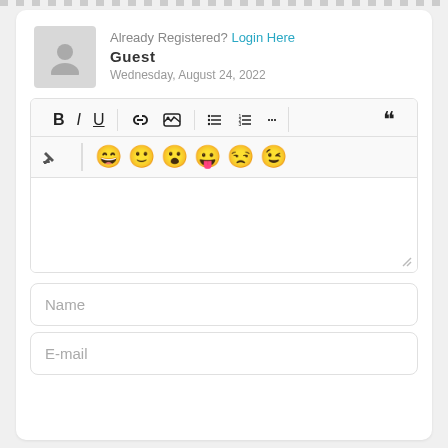Already Registered? Login Here
Guest
Wednesday, August 24, 2022
[Figure (screenshot): Rich text editor toolbar with bold, italic, underline, link, image, list, ordered list, more options, quote, eraser, and emoji buttons (😄 🙂 😮 😛 😒 😉)]
Name
E-mail